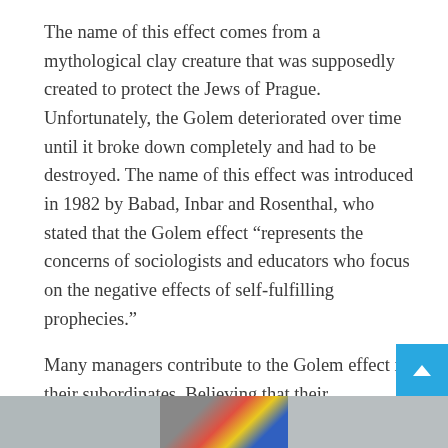The name of this effect comes from a mythological clay creature that was supposedly created to protect the Jews of Prague. Unfortunately, the Golem deteriorated over time until it broke down completely and had to be destroyed. The name of this effect was introduced in 1982 by Babad, Inbar and Rosenthal, who stated that the Golem effect “represents the concerns of sociologists and educators who focus on the negative effects of self-fulfilling prophecies.”
Many managers contribute to the Golem effect in their subordinates. Believing that their subordinates have no skills, competencies, or ability to succeed in the company.
[Figure (photo): Partial view of a photo strip at the bottom of the page showing colorful book spines or artwork, partially cropped]